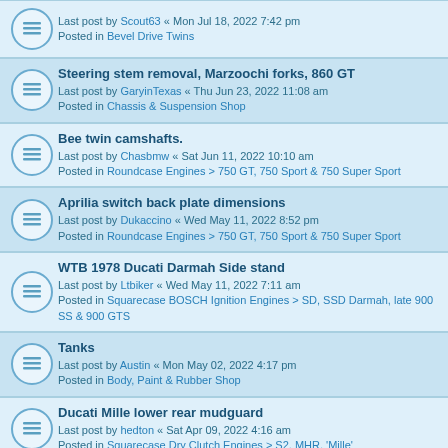Last post by Scout63 « Mon Jul 18, 2022 7:42 pm
Posted in Bevel Drive Twins
Steering stem removal, Marzoochi forks, 860 GT
Last post by GaryinTexas « Thu Jun 23, 2022 11:08 am
Posted in Chassis & Suspension Shop
Bee twin camshafts.
Last post by Chasbmw « Sat Jun 11, 2022 10:10 am
Posted in Roundcase Engines > 750 GT, 750 Sport & 750 Super Sport
Aprilia switch back plate dimensions
Last post by Dukaccino « Wed May 11, 2022 8:52 pm
Posted in Roundcase Engines > 750 GT, 750 Sport & 750 Super Sport
WTB 1978 Ducati Darmah Side stand
Last post by Ltbiker « Wed May 11, 2022 7:11 am
Posted in Squarecase BOSCH Ignition Engines > SD, SSD Darmah, late 900 SS & 900 GTS
Tanks
Last post by Austin « Mon May 02, 2022 4:17 pm
Posted in Body, Paint & Rubber Shop
Ducati Mille lower rear mudguard
Last post by hedton « Sat Apr 09, 2022 4:16 am
Posted in Squarecase Dry Clutch Engines > S2, MHR, 'Mille'
Protect your clutch pushrod
Last post by hedton « Mon Mar 21, 2022 12:42 am
Posted in Squarecase Dry Clutch Engines > S2, MHR, 'Mille'
1980 900 SS For Sale
Last post by BevHevSteve « Thu Feb 10, 2022 4:02 pm
Posted in Bevel Drive Twins